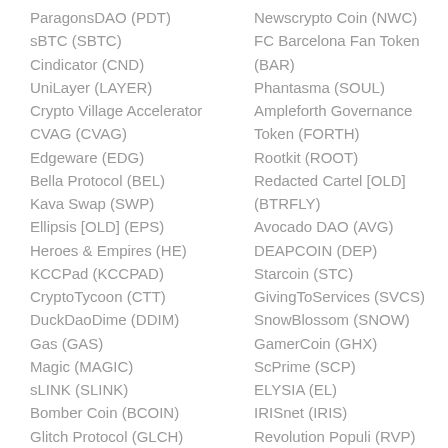ParagonsDAO (PDT)
sBTC (SBTC)
Cindicator (CND)
UniLayer (LAYER)
Crypto Village Accelerator CVAG (CVAG)
Edgeware (EDG)
Bella Protocol (BEL)
Kava Swap (SWP)
Ellipsis [OLD] (EPS)
Heroes & Empires (HE)
KCCPad (KCCPAD)
CryptoTycoon (CTT)
DuckDaoDime (DDIM)
Gas (GAS)
Magic (MAGIC)
sLINK (SLINK)
Bomber Coin (BCOIN)
Glitch Protocol (GLCH)
Newscrypto Coin (NWC)
FC Barcelona Fan Token (BAR)
Phantasma (SOUL)
Ampleforth Governance Token (FORTH)
Rootkit (ROOT)
Redacted Cartel [OLD] (BTRFLY)
Avocado DAO (AVG)
DEAPCOIN (DEP)
Starcoin (STC)
GivingToServices (SVCS)
SnowBlossom (SNOW)
GamerCoin (GHX)
ScPrime (SCP)
ELYSIA (EL)
IRISnet (IRIS)
Revolution Populi (RVP)